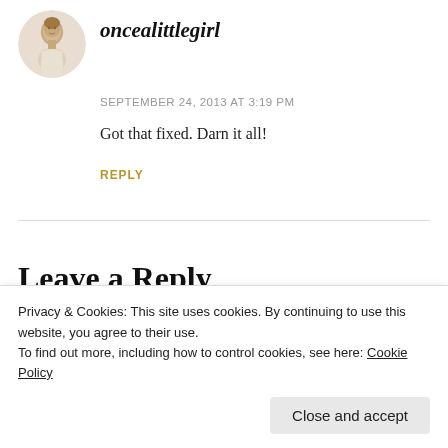[Figure (photo): Circular avatar photo of a young girl in sepia tone]
oncealittlegirl
SEPTEMBER 24, 2013 AT 3:19 PM
Got that fixed. Darn it all!
REPLY
Leave a Reply
Your email address will not be published. Required fields
Privacy & Cookies: This site uses cookies. By continuing to use this website, you agree to their use.
To find out more, including how to control cookies, see here: Cookie Policy
Close and accept